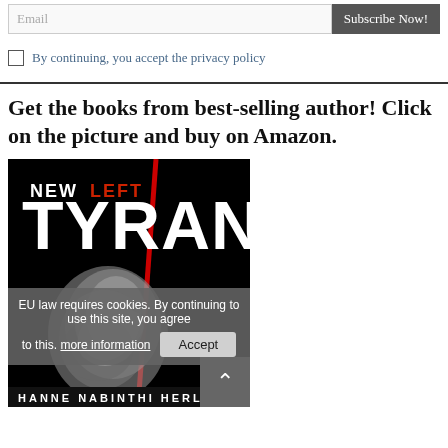Email
Subscribe Now!
By continuing, you accept the privacy policy
Get the books from best-selling author! Click on the picture and buy on Amazon.
[Figure (photo): Book cover of 'New Left Tyranny' by Hanne Nabinthi Herland. Black background with large white text 'TYRANNY', red text 'LEFT' and white text 'NEW', a red diagonal line, and a metallic sculpture of entwined figures in the center.]
EU law requires cookies. By continuing to use this site, you agree to this. more information
Accept